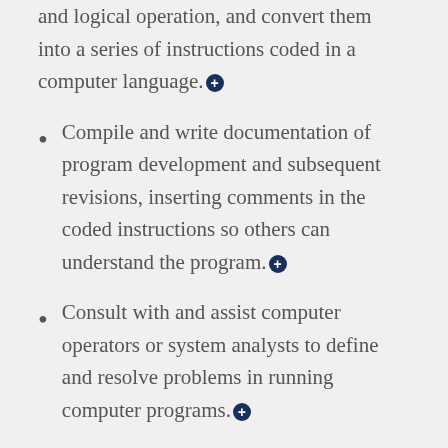and logical operation, and convert them into a series of instructions coded in a computer language.⊕
Compile and write documentation of program development and subsequent revisions, inserting comments in the coded instructions so others can understand the program.⊕
Consult with and assist computer operators or system analysts to define and resolve problems in running computer programs.⊕
Perform systems analysis and programming tasks to maintain and